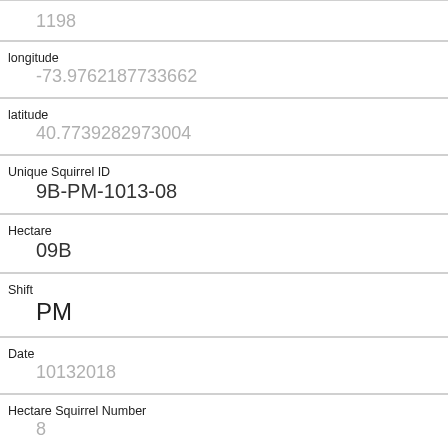| Field | Value |
| --- | --- |
|  | 1198 |
| longitude | -73.9762187733662 |
| latitude | 40.7739282973004 |
| Unique Squirrel ID | 9B-PM-1013-08 |
| Hectare | 09B |
| Shift | PM |
| Date | 10132018 |
| Hectare Squirrel Number | 8 |
| Age | Juvenile |
| Primary Fur Color | Cinnamon |
| Highlight Fur Color |  |